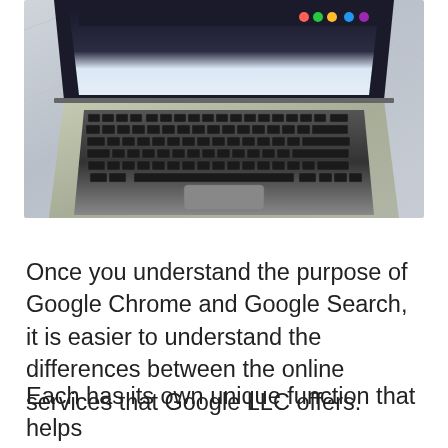[Figure (photo): Overhead/angled photo of a MacBook laptop keyboard and screen on a marble/light surface, showing the keyboard in dark keys and part of the screen.]
Once you understand the purpose of Google Chrome and Google Search, it is easier to understand the differences between the online services that Google LLC offers.
Each has its own unique function that helps the devices that use its interface, service, and systems run the best in the industry.